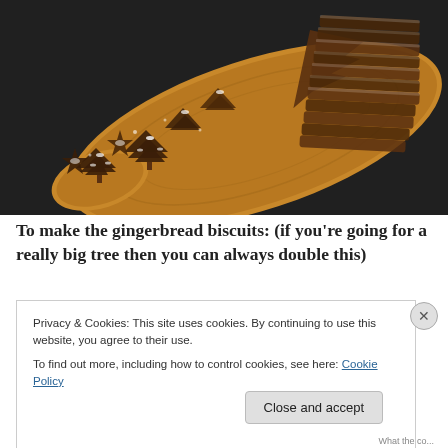[Figure (photo): Gingerbread biscuits shaped like Christmas trees and stars, displayed on a wooden olive board against a dark marble background. Small iced cookies in front, stacked larger cookies in back right.]
To make the gingerbread biscuits: (if you're going for a really big tree then you can always double this)
Privacy & Cookies: This site uses cookies. By continuing to use this website, you agree to their use.
To find out more, including how to control cookies, see here: Cookie Policy